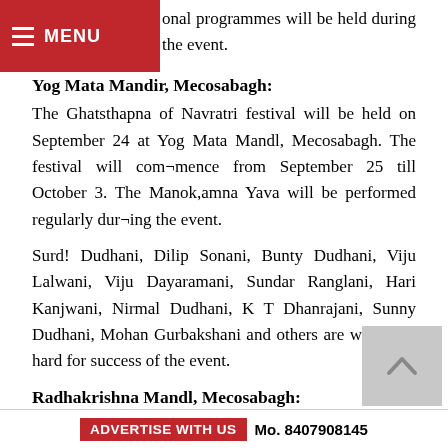September 25 to October 3. Various activities and educational programmes will be held during the event.
Yog Mata Mandir, Mecosabagh:
The Ghatsthapna of Navratri festival will be held on September 24 at Yog Mata Mandl, Mecosabagh. The festival will com¬mence from September 25 till October 3. The Manok,amna Yava will be performed regularly dur¬ing the event.
Surd! Dudhani, Dilip Sonani, Bunty Dudhani, Viju Lalwani, Viju Dayaramani, Sundar Ranglani, Hari Kanjwani, Nirmal Dudhani, K T Dhanrajani, Sunny Dudhani, Mohan Gurbakshani and others are work¬ing hard for success of the event.
Radhakrishna Mandl, Mecosabagh:
ADVERTISE WITH US   Mo. 8407908145